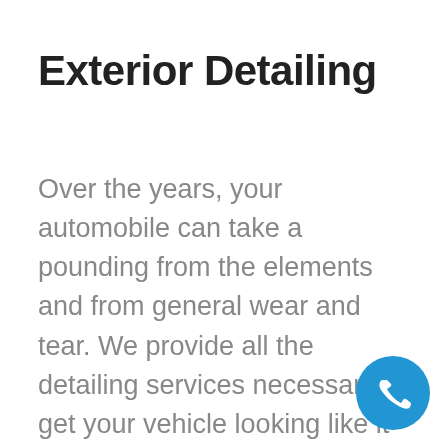Exterior Detailing
Over the years, your automobile can take a pounding from the elements and from general wear and tear. We provide all the detailing services necessary to get your vehicle looking like it just rolled off the lot. Starting with custom washing and waxing and glass/chrome cleaning and polishing, we take great care to leave your exterior spic and span. Tires and trim
[Figure (illustration): Blue circular phone call button icon in the bottom right corner]